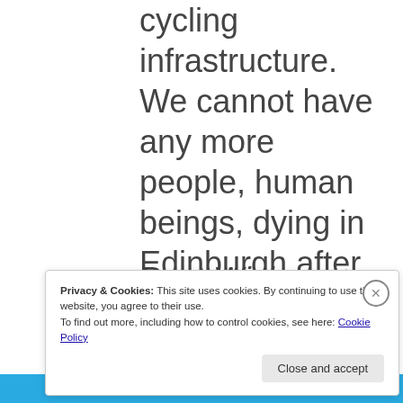cycling infrastructure. We cannot have any more people, human beings, dying in Edinburgh after being hit whilst on their bike on our roads.
Best Wishes
Privacy & Cookies: This site uses cookies. By continuing to use this website, you agree to their use.
To find out more, including how to control cookies, see here: Cookie Policy
Close and accept